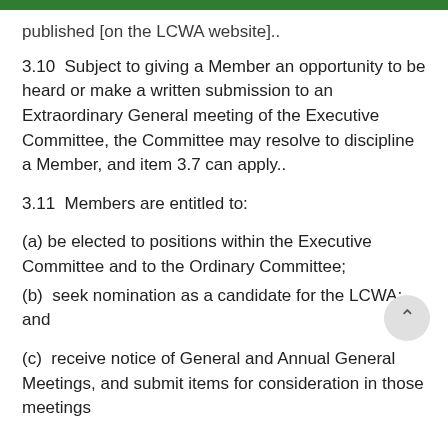published [on the LCWA website]..
3.10  Subject to giving a Member an opportunity to be heard or make a written submission to an Extraordinary General meeting of the Executive Committee, the Committee may resolve to discipline a Member, and item 3.7 can apply..
3.11  Members are entitled to:
(a) be elected to positions within the Executive Committee and to the Ordinary Committee;
(b)  seek nomination as a candidate for the LCWA; and
(c)  receive notice of General and Annual General Meetings, and submit items for consideration in those meetings